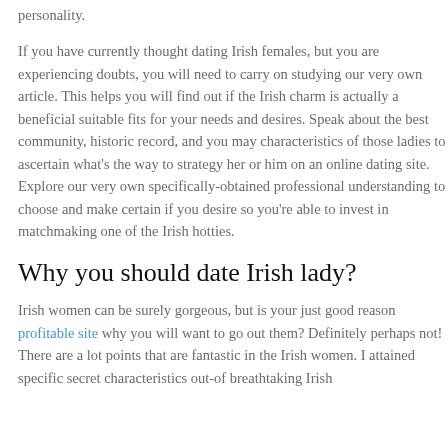personality.
If you have currently thought dating Irish females, but you are experiencing doubts, you will need to carry on studying our very own article. This helps you will find out if the Irish charm is actually a beneficial suitable fits for your needs and desires. Speak about the best community, historic record, and you may characteristics of those ladies to ascertain what's the way to strategy her or him on an online dating site. Explore our very own specifically-obtained professional understanding to choose and make certain if you desire so you're able to invest in matchmaking one of the Irish hotties.
Why you should date Irish lady?
Irish women can be surely gorgeous, but is your just good reason profitable site why you will want to go out them? Definitely perhaps not! There are a lot points that are fantastic in the Irish women. I attained specific secret characteristics out-of breathtaking Irish